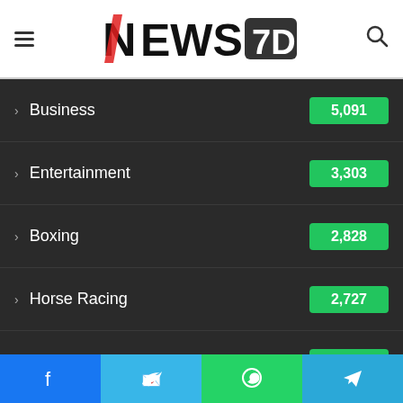[Figure (logo): NEWS7D logo with hamburger menu icon on left and search icon on right]
Business 5,091
Entertainment 3,303
Boxing 2,828
Horse Racing 2,727
Auto Express 2,584
Tech 2,544
Health 2,358
Game 2,144
Fashion 1,865
Lifestyle 1,...
Facebook | Twitter | WhatsApp | Telegram